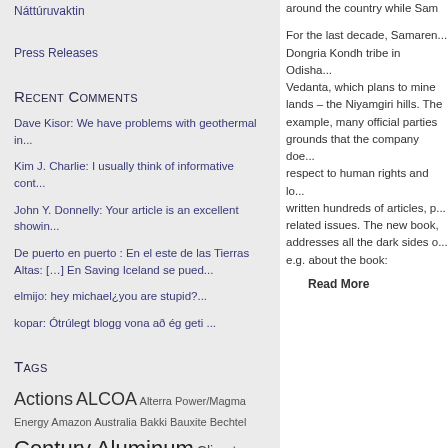Náttúruvaktin
Press Releases
Recent Comments
Dave Kisor: We have problems with geothermal in...
Kim J. Charlie: I usually think of informative cont...
John Y. Donnelly: Your article is an excellent showin...
De puerto en puerto : En el este de las Tierras Altas: […] En Saving Iceland se pued...
elmijo: hey michael¿you are stupid?...
kopar: Ótrúlegt blogg vona að ég geti ...
Tags
Actions ALCOA Alterra Power/Magma Energy Amazon Australia Bakki Bauxite Bechtel Century Aluminum Climate Change Corruption Cultural Dams Democracy deficit Ecology Economic Collapse
around the country while Sa...
For the last decade, Samaren... Dongria Kondh tribe in Odisha... Vedanta, which plans to mine lands – the Niyamgiri hills. The example, many official parties grounds that the company doe... respect to human rights and lo... written hundreds of articles, p... related issues. The new book, addresses all the dark sides o... e.g. about the book:
Read More
Actions, ALCOA, Alterra Powe... H.S. Orka, Helguvik, Hengill, Iceland